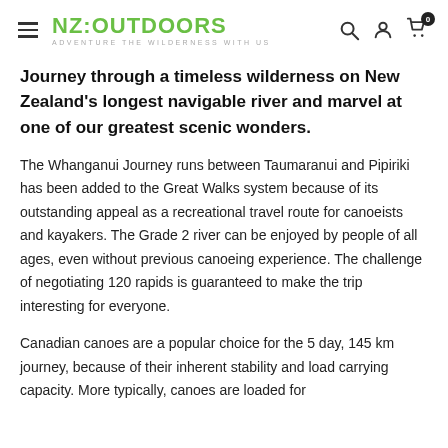NZ:OUTDOORS — ADVENTURE THE WILDERNESS WITH US
Journey through a timeless wilderness on New Zealand's longest navigable river and marvel at one of our greatest scenic wonders.
The Whanganui Journey runs between Taumaranui and Pipiriki has been added to the Great Walks system because of its outstanding appeal as a recreational travel route for canoeists and kayakers. The Grade 2 river can be enjoyed by people of all ages, even without previous canoeing experience. The challenge of negotiating 120 rapids is guaranteed to make the trip interesting for everyone.
Canadian canoes are a popular choice for the 5 day, 145 km journey, because of their inherent stability and load carrying capacity. More typically, canoes are loaded for